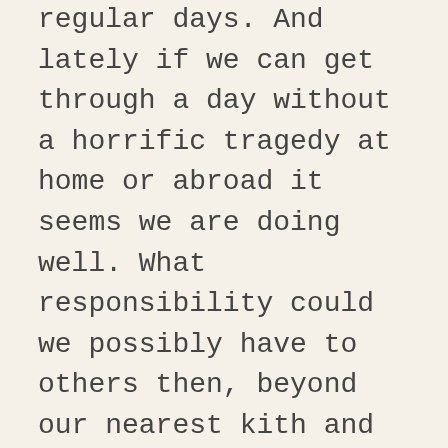regular days.  And lately if we can get through a day without a horrific tragedy at home or abroad it seems we are doing well.  What responsibility could we possibly have to others then, beyond our nearest kith and kin, to help them thrive in the game of life?  When the world has gone mad, shouldn't we run and hide?
I do not think we can allow this to be an option.  Sure, take cover from time to time, that you might rest, recharge, resurge renewed.  But do not go away.   The world needs you.  You cannot know how that wing flap will change your life; that being the case, you must march on, march on, march on.
Whether you are counting loons, rubbing dirt